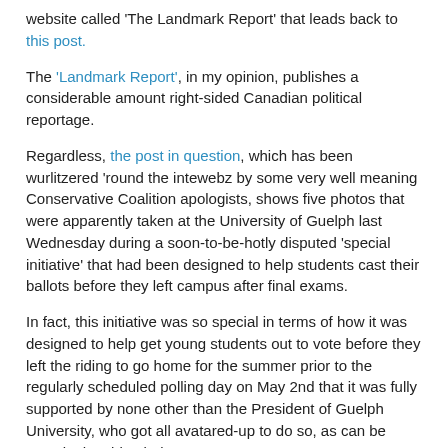website called 'The Landmark Report' that leads back to this post.
The 'Landmark Report', in my opinion, publishes a considerable amount right-sided Canadian political reportage.
Regardless, the post in question, which has been wurlitzered 'round the intewebz by some very well meaning Conservative Coalition apologists, shows five photos that were apparently taken at the University of Guelph last Wednesday during a soon-to-be-hotly disputed 'special initiative' that had been designed to help students cast their ballots before they left campus after final exams.
In fact, this initiative was so special in terms of how it was designed to help get young students out to vote before they left the riding to go home for the summer prior to the regularly scheduled polling day on May 2nd that it was fully supported by none other than the President of Guelph University, who got all avatared-up to do so, as can be seen in the video below.